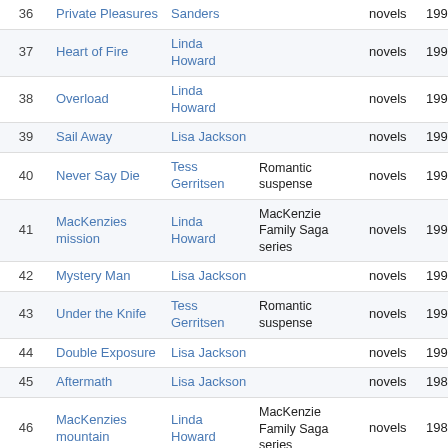| # | Title | Author | Genre/Series | Type | Year |
| --- | --- | --- | --- | --- | --- |
| 36 | Private Pleasures | Sanders |  | novels | 1993 |
| 37 | Heart of Fire | Linda Howard |  | novels | 1993 |
| 38 | Overload | Linda Howard |  | novels | 1993 |
| 39 | Sail Away | Lisa Jackson |  | novels | 1992 |
| 40 | Never Say Die | Tess Gerritsen | Romantic suspense | novels | 1992 |
| 41 | MacKenzies mission | Linda Howard | MacKenzie Family Saga series | novels | 1992 |
| 42 | Mystery Man | Lisa Jackson |  | novels | 1991 |
| 43 | Under the Knife | Tess Gerritsen | Romantic suspense | novels | 1990 |
| 44 | Double Exposure | Lisa Jackson |  | novels | 1990 |
| 45 | Aftermath | Lisa Jackson |  | novels | 1989 |
| 46 | MacKenzies mountain | Linda Howard | MacKenzie Family Saga series | novels | 1989 |
| 47 | Tender Trap | Lisa Jackson |  | novels | 1989 |
| 48 | Hurricane Force | Lisa Jackson |  | novels | 1988 |
| 49 | Snowbound | Lisa Jackson |  | novels | 1987 |